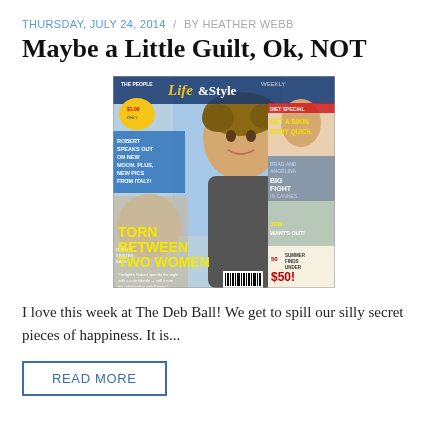THURSDAY, JULY 24, 2014 / BY HEATHER WEBB
Maybe a Little Guilt, Ok, NOT
[Figure (photo): Life & Style Weekly magazine cover featuring a male celebrity with headline 'TORN BETWEEN TWO WOMEN']
I love this week at The Deb Ball! We get to spill our silly secret pieces of happiness. It is...